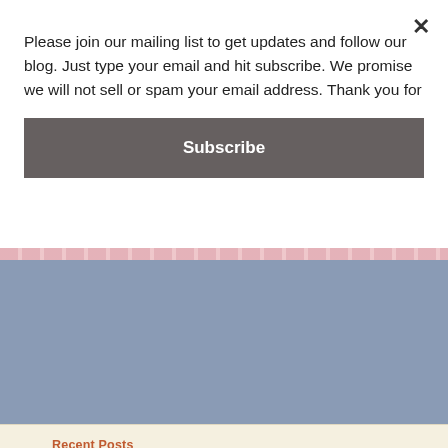Please join our mailing list to get updates and follow our blog. Just type your email and hit subscribe. We promise we will not sell or spam your email address. Thank you for
Subscribe
Blog Topics
Select Category
Recent Posts
Distance Learning with Edpuzzle